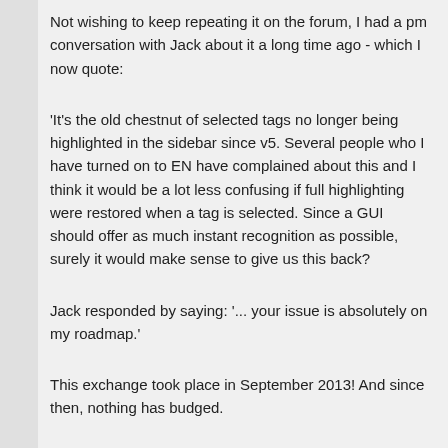Not wishing to keep repeating it on the forum, I had a pm conversation with Jack about it a long time ago - which I now quote:
'It's the old chestnut of selected tags no longer being highlighted in the sidebar since v5. Several people who I have turned on to EN have complained about this and I think it would be a lot less confusing if full highlighting were restored when a tag is selected. Since a GUI should offer as much instant recognition as possible, surely it would make sense to give us this back?
Jack responded by saying: '... your issue is absolutely on my roadmap.'
This exchange took place in September 2013! And since then, nothing has budged.